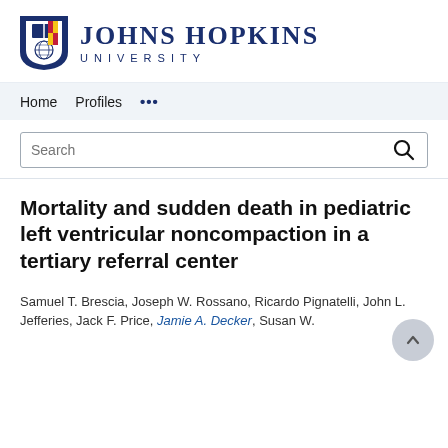[Figure (logo): Johns Hopkins University logo with shield and text]
Home   Profiles   ...
Search
Mortality and sudden death in pediatric left ventricular noncompaction in a tertiary referral center
Samuel T. Brescia, Joseph W. Rossano, Ricardo Pignatelli, John L. Jefferies, Jack F. Price, Jamie A. Decker, Susan W. ...